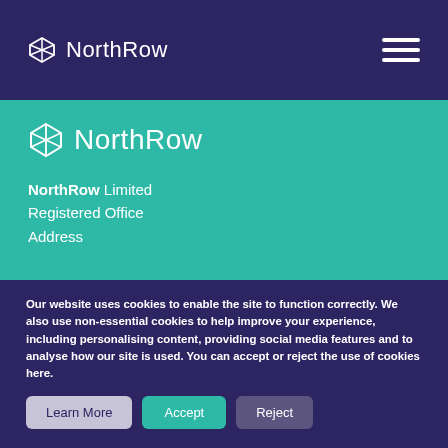NorthRow
[Figure (logo): NorthRow logo with geometric diamond/cross icon and wordmark on teal background]
NorthRow Limited
Registered Office
Address
Our website uses cookies to enable the site to function correctly. We also use non-essential cookies to help improve your experience, including personalising content, providing social media features and to analyse how our site is used. You can accept or reject the use of cookies here.
Learn More  Accept  Reject